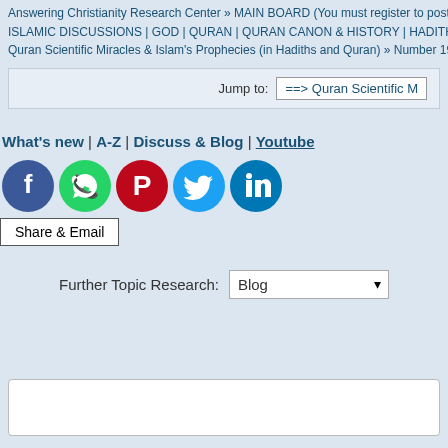Answering Christianity Research Center » MAIN BOARD (You must register to post) » ISLAMIC DISCUSSIONS | GOD | QURAN | QURAN CANON & HISTORY | HADITHS & S... Quran Scientific Miracles & Islam's Prophecies (in Hadiths and Quran) » Number 19 mira...
Jump to: ===> Quran Scientific M...
What's new | A-Z | Discuss & Blog | Youtube
[Figure (infographic): Social media share icons: Facebook (blue circle), WhatsApp (green circle), Pinterest (red circle), Twitter (light blue circle), LinkedIn (blue circle)]
Share & Email
Further Topic Research: Blog
SMF 2.0.13 | SMF © 2016, Simple M... XHTML RSS WAP2